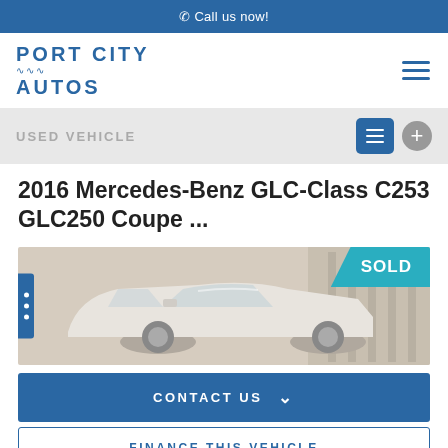Call us now!
[Figure (logo): Port City Autos logo with wave design and hamburger menu icon]
USED VEHICLE
2016 Mercedes-Benz GLC-Class C253 GLC250 Coupe ...
[Figure (photo): White Mercedes-Benz GLC-Class Coupe in a showroom with a SOLD badge in the top right corner]
CONTACT US
FINANCE THIS VEHICLE